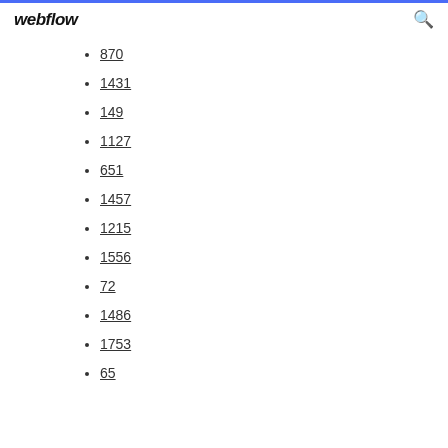webflow
870
1431
149
1127
651
1457
1215
1556
72
1486
1753
65